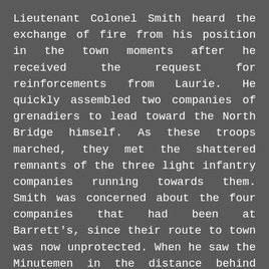Lieutenant Colonel Smith heard the exchange of fire from his position in the town moments after he received the request for reinforcements from Laurie. He quickly assembled two companies of grenadiers to lead toward the North Bridge himself. As these troops marched, they met the shattered remnants of the three light infantry companies running towards them. Smith was concerned about the four companies that had been at Barrett's, since their route to town was now unprotected. When he saw the Minutemen in the distance behind their wall, he halted his two companies and moved forward with only his officers to take a closer look. One of the Minutemen behind that wall observed, “If we had fired, I believe we could have killed almost every officer there was in the front, but we had no orders to fire and there wasn't a gun fired.” During a tense standoff lasting about 10 minutes, a mentally ill local